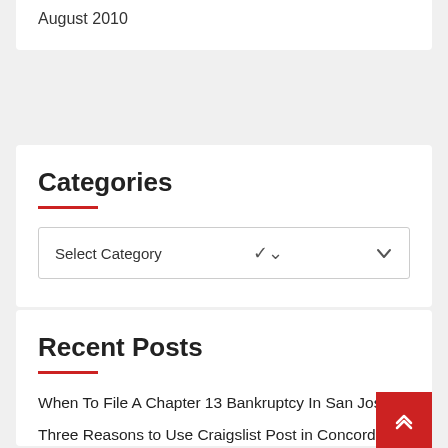August 2010
Categories
Select Category
Recent Posts
When To File A Chapter 13 Bankruptcy In San Jose
Three Reasons to Use Craigslist Post in Concord